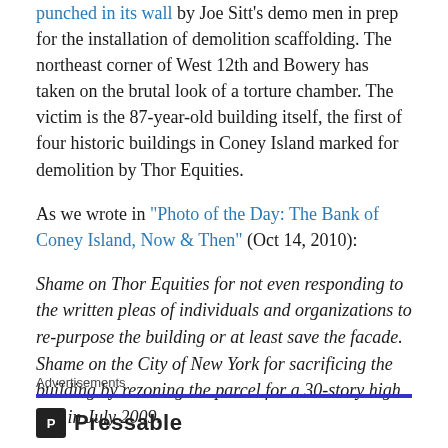punched in its wall by Joe Sitt's demo men in prep for the installation of demolition scaffolding. The northeast corner of West 12th and Bowery has taken on the brutal look of a torture chamber. The victim is the 87-year-old building itself, the first of four historic buildings in Coney Island marked for demolition by Thor Equities.
As we wrote in "Photo of the Day: The Bank of Coney Island, Now & Then" (Oct 14, 2010):
Shame on Thor Equities for not even responding to the written pleas of individuals and organizations to re-purpose the building or at least save the facade. Shame on the City of New York for sacrificing the building by rezoning the parcel for a 30-story high rise in July 2009.
Advertisements
[Figure (logo): Pressable logo with stylized P icon and Pressable wordmark]